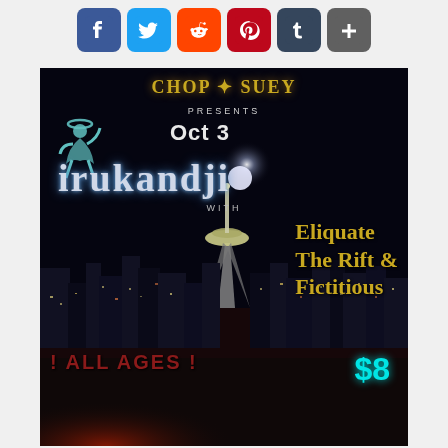[Figure (infographic): Social media sharing buttons: Facebook, Twitter, Reddit, Pinterest, Tumblr, and a plus/more button arranged horizontally]
[Figure (infographic): Concert event poster with dark background showing Seattle skyline and Space Needle at night. Chop Suey venue presents Irukandji on Oct 3 with support from Eliquate, The Rift & Fictitious. All Ages, $8 admission. Features glow/lightning artwork.]